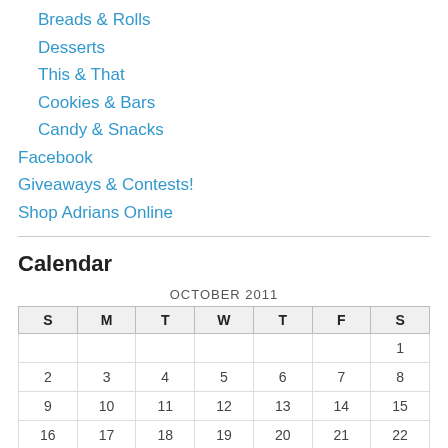Breads & Rolls
Desserts
This & That
Cookies & Bars
Candy & Snacks
Facebook
Giveaways & Contests!
Shop Adrians Online
Calendar
| S | M | T | W | T | F | S |
| --- | --- | --- | --- | --- | --- | --- |
|  |  |  |  |  |  | 1 |
| 2 | 3 | 4 | 5 | 6 | 7 | 8 |
| 9 | 10 | 11 | 12 | 13 | 14 | 15 |
| 16 | 17 | 18 | 19 | 20 | 21 | 22 |
| 23 | 24 | 25 | 26 | 27 | 28 | 29 |